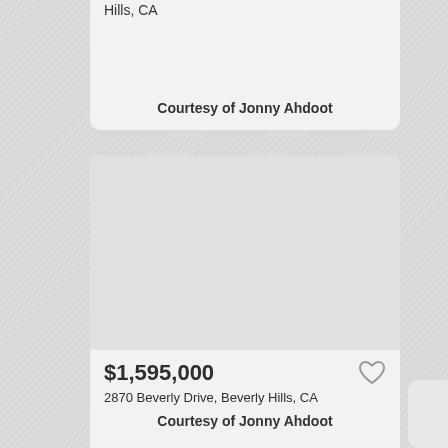Hills, CA
Courtesy of Jonny Ahdoot
[Figure (photo): Property listing photo placeholder for 2870 Beverly Drive, Beverly Hills, CA]
$1,595,000
2870 Beverly Drive, Beverly Hills, CA
Courtesy of Jonny Ahdoot